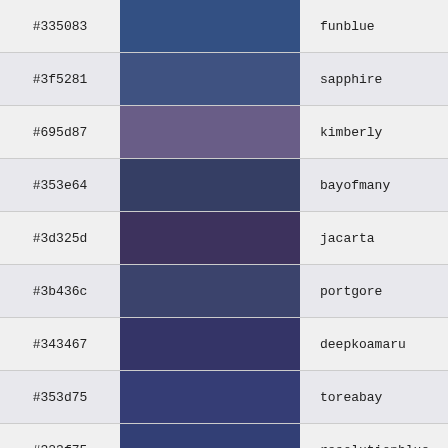| hex | swatch | name |
| --- | --- | --- |
| #335083 |  | funblue |
| #3f5281 |  | sapphire |
| #695d87 |  | kimberly |
| #353e64 |  | bayofmany |
| #3d325d |  | jacarta |
| #3b436c |  | portgore |
| #343467 |  | deepkoamaru |
| #353d75 |  | toreabay |
| #323f75 |  | resolutionblue |
| #3d3f7d |  | jacksonspurple |
| #3e3267 |  | minsk |
| #4b3c8e |  | bluegem |